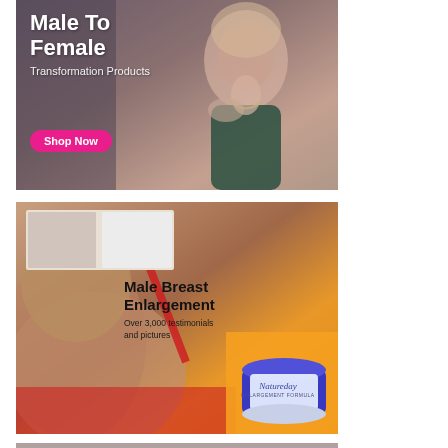[Figure (advertisement): Male To Female Transformation Products advertisement banner with a woman model wearing green dress and jewelry. Pink 'Shop Now' button at bottom left.]
[Figure (advertisement): Male Breast Enlargement advertisement showing 'Over 3,000 testimonials and pictures'. Features before/after photos at top, woman in red lingerie, and Natureday Enlargement Formula jar on orange/yellow background.]
[Figure (advertisement): Partially visible third advertisement banner at bottom of page, cropped.]